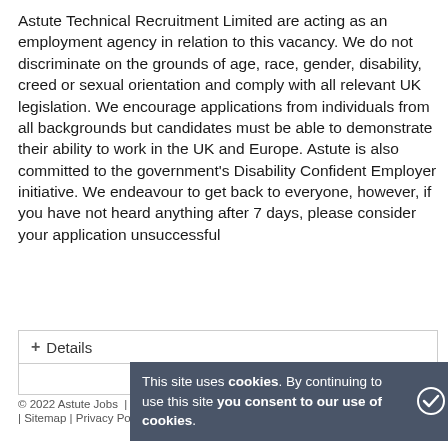Astute Technical Recruitment Limited are acting as an employment agency in relation to this vacancy. We do not discriminate on the grounds of age, race, gender, disability, creed or sexual orientation and comply with all relevant UK legislation. We encourage applications from individuals from all backgrounds but candidates must be able to demonstrate their ability to work in the UK and Europe. Astute is also committed to the government's Disability Confident Employer initiative. We endeavour to get back to everyone, however, if you have not heard anything after 7 days, please consider your application unsuccessful
+ Details
This site uses cookies. By continuing to use this site you consent to our use of cookies.
© 2022 Astute Jobs | JobBoard.com software by HotLizard | Sitemap | Privacy Policy | Terms & Conditions